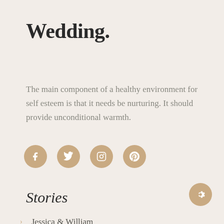Wedding.
The main component of a healthy environment for self esteem is that it needs be nurturing. It should provide unconditional warmth.
[Figure (infographic): Four social media icon circles (Facebook, Twitter, Instagram, Pinterest) in tan/gold color with white icons]
Stories
Jessica & William
Kate & Adam
Michael & Sarah
Kate & A...